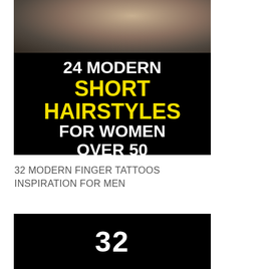[Figure (photo): Image banner showing a woman with short hair from behind, with a black overlay containing bold text: '24 MODERN SHORT HAIRSTYLES FOR WOMEN OVER 50' in white and yellow on black background]
32 MODERN FINGER TATTOOS INSPIRATION FOR MEN
[Figure (photo): Black image with large white number '32' centered, partial view of a second article image]